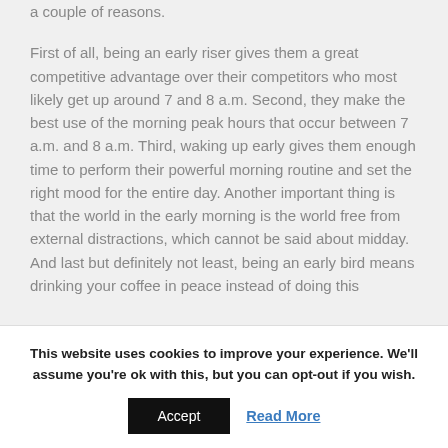a couple of reasons.
First of all, being an early riser gives them a great competitive advantage over their competitors who most likely get up around 7 and 8 a.m. Second, they make the best use of the morning peak hours that occur between 7 a.m. and 8 a.m. Third, waking up early gives them enough time to perform their powerful morning routine and set the right mood for the entire day. Another important thing is that the world in the early morning is the world free from external distractions, which cannot be said about midday. And last but definitely not least, being an early bird means drinking your coffee in peace instead of doing this
This website uses cookies to improve your experience. We'll assume you're ok with this, but you can opt-out if you wish.
Accept
Read More